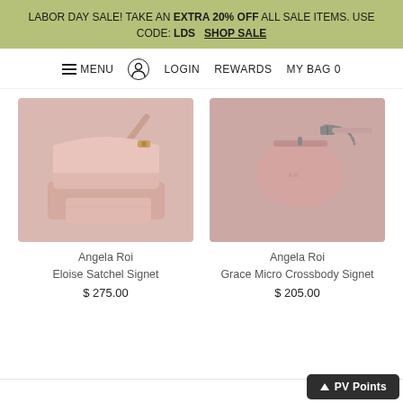LABOR DAY SALE! TAKE AN EXTRA 20% OFF ALL SALE ITEMS. USE CODE: LDS  SHOP SALE
MENU  LOGIN  REWARDS  MY BAG 0
[Figure (photo): Pink leather Angela Roi Eloise Satchel Signet bag with chain strap]
Angela Roi
Eloise Satchel Signet
$ 275.00
[Figure (photo): Pink leather Angela Roi Grace Micro Crossbody Signet bag with chain strap]
Angela Roi
Grace Micro Crossbody Signet
$ 205.00
PV Points